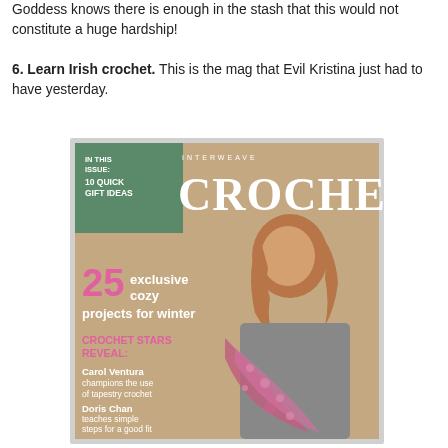Goddess knows there is enough in the stash that this would not constitute a huge hardship!
6. Learn Irish crochet. This is the mag that Evil Kristina just had to have yesterday.
[Figure (photo): Cover of Interweave Crochet magazine showing a woman wearing a pink lace crochet shawl. Text on cover reads: 'IN THIS ISSUE: 10 QUICK GIFT IDEAS', 'INTERWEAVE CROCHET', '25 exclusive cozy projects for winter', 'CROCHET STARS REVEAL:', 'Carol Ventura champions the use of tapestry crochet', 'Doris Chan teaches simple steps for a good fit', 'Teva Durham updates the look of Irish crochet']